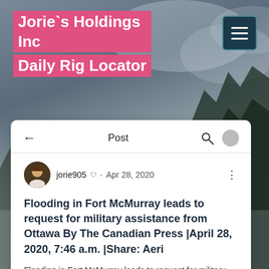Jorie`s Holdings Inc Daily Rig Locator
Post
jorie905  ·  Apr 28, 2020
Flooding in Fort McMurray leads to request for military assistance from Ottawa By The Canadian Press |April 28, 2020, 7:46 a.m. |Share: Aeri
Flooding in Fort McMurray leads to request for military assistance from Ottawa